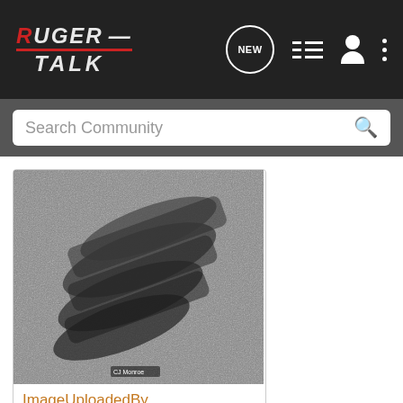RUGER TALK – Navigation bar with NEW, list, user, and more icons
Search Community
[Figure (photo): Grayscale photograph of multiple handguns/pistols arranged on a surface, with a watermark reading 'CJ Monroe']
ImageUploadedBy...
123.6 KB   Views: 165
jmohme · Registered 🇺🇸
Joined Jan 1, 2013 · 1,467 Posts
#8 · Sep
[Figure (advertisement): Kel-Tec advertisement banner showing a CP33 pistol with text: SEEKING LONG RANGE RELATIONSHIP, KEL-TEC THE CP33 PISTOL]